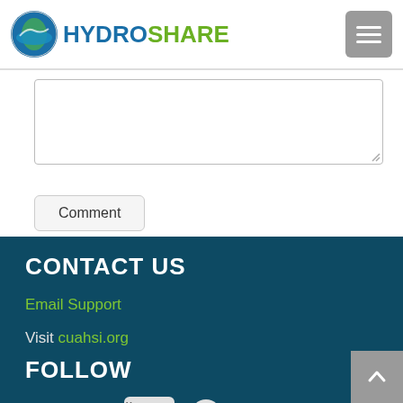HYDROSHARE
[Figure (screenshot): Textarea input box for comment entry]
Comment
CONTACT US
Email Support
Visit cuahsi.org
FOLLOW
[Figure (infographic): Social media icons: Twitter, Facebook, YouTube, GitHub, LinkedIn]
OPEN SOURCE